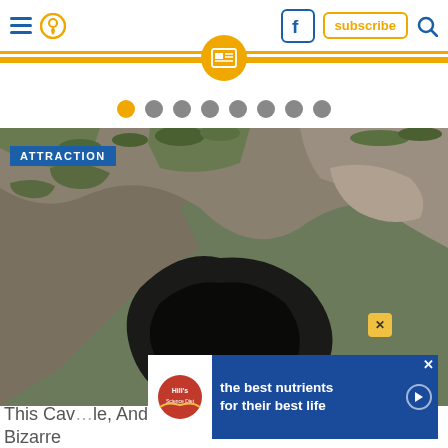Navigation header with hamburger menu, location pin icon, Facebook icon, subscribe button, and search icon
[Figure (other): Orange stripe with circular news/article badge icon in center]
[Figure (other): Dot pagination: 8 dots, first dot active (orange), remaining dots grey]
[Figure (photo): Photograph of a cave entrance in rocky cliff face with moss and vegetation. Blue tag reads ATTRACTION in top-left corner.]
[Figure (other): Advertisement overlay: Hill's Pet Nutrition ad reading 'the best nutrients for their best life']
This Cav... le, And Bizarre